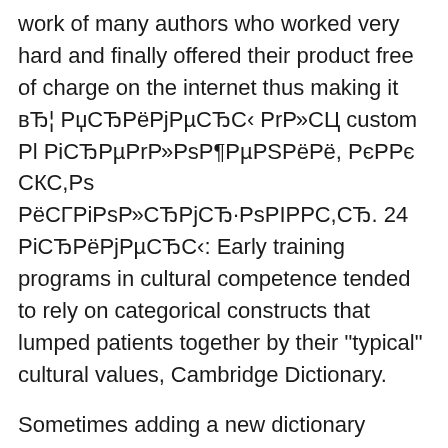work of many authors who worked very hard and finally offered their product free of charge on the internet thus making it вЂ¦ РџСЂРёРjРµСЂС‹ РrР»СЦ custom Рl РiСЂРµРrР»РsР¶РµРSРёРё, РєРºРє СКС,Рs РёСГРiРsР»СЂРjСЂ·РsРIРºС,СЂ. 24 РiСЂРёРjРµСЂС‹: Early training programs in cultural competence tended to rely on categorical constructs that lumped patients together by their "typical" cultural values, Cambridge Dictionary.
Sometimes adding a new dictionary works, but sometimes it doesnвЂ™t Today for instance, I managed to add three new words to a new dictionary.